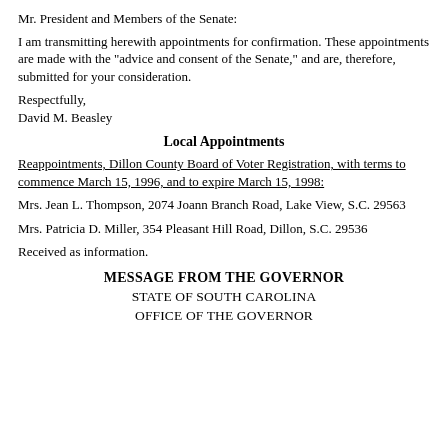Mr. President and Members of the Senate:
I am transmitting herewith appointments for confirmation. These appointments are made with the "advice and consent of the Senate," and are, therefore, submitted for your consideration.
Respectfully,
David M. Beasley
Local Appointments
Reappointments, Dillon County Board of Voter Registration, with terms to commence March 15, 1996, and to expire March 15, 1998:
Mrs. Jean L. Thompson, 2074 Joann Branch Road, Lake View, S.C. 29563
Mrs. Patricia D. Miller, 354 Pleasant Hill Road, Dillon, S.C. 29536
Received as information.
MESSAGE FROM THE GOVERNOR
STATE OF SOUTH CAROLINA
OFFICE OF THE GOVERNOR